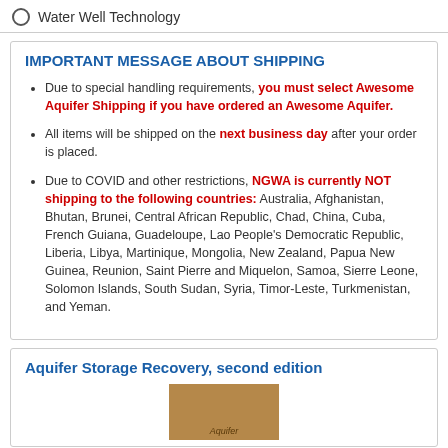Water Well Technology
IMPORTANT MESSAGE ABOUT SHIPPING
Due to special handling requirements, you must select Awesome Aquifer Shipping if you have ordered an Awesome Aquifer.
All items will be shipped on the next business day after your order is placed.
Due to COVID and other restrictions, NGWA is currently NOT shipping to the following countries: Australia, Afghanistan, Bhutan, Brunei, Central African Republic, Chad, China, Cuba, French Guiana, Guadeloupe, Lao People's Democratic Republic, Liberia, Libya, Martinique, Mongolia, New Zealand, Papua New Guinea, Reunion, Saint Pierre and Miquelon, Samoa, Sierre Leone, Solomon Islands, South Sudan, Syria, Timor-Leste, Turkmenistan, and Yeman.
Aquifer Storage Recovery, second edition
[Figure (photo): Book cover of Aquifer Storage Recovery, second edition]